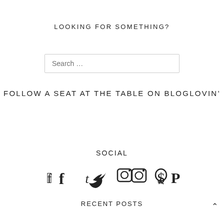LOOKING FOR SOMETHING?
Search …
FOLLOW A SEAT AT THE TABLE ON BLOGLOVIN'
SOCIAL
[Figure (infographic): Four social media icons: Facebook, Twitter, Instagram, Pinterest]
RECENT POSTS